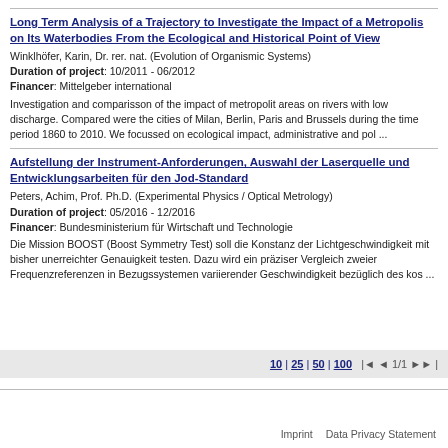Long Term Analysis of a Trajectory to Investigate the Impact of a Metropolis on Its Waterbodies From the Ecological and Historical Point of View
Winklhöfer, Karin, Dr. rer. nat. (Evolution of Organismic Systems)
Duration of project: 10/2011 - 06/2012
Financer: Mittelgeber international
Investigation and comparisson of the impact of metropolit areas on rivers with low discharge. Compared were the cities of Milan, Berlin, Paris and Brussels during the time period 1860 to 2010. We focussed on ecological impact, administrative and pol ...
Aufstellung der Instrument-Anforderungen, Auswahl der Laserquelle und Entwicklungsarbeiten für den Jod-Standard
Peters, Achim, Prof. Ph.D. (Experimental Physics / Optical Metrology)
Duration of project: 05/2016 - 12/2016
Financer: Bundesministerium für Wirtschaft und Technologie
Die Mission BOOST (Boost Symmetry Test) soll die Konstanz der Lichtgeschwindigkeit mit bisher unerreichter Genauigkeit testen. Dazu wird ein präziser Vergleich zweier Frequenzreferenzen in Bezugssystemen variierender Geschwindigkeit bezüglich des kos ...
10 | 25 | 50 | 100   |◄ ◄ 1/1 ►► |     Imprint   Data Privacy Statement